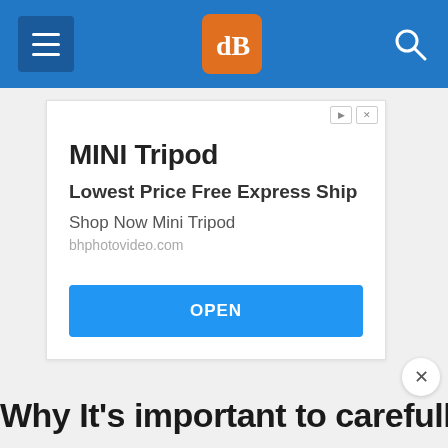[Figure (screenshot): Website navigation bar with hamburger menu on left, dPS logo (orange square with 'dB' monogram) in center, and search icon on right, on blue background]
[Figure (screenshot): Advertisement card for MINI Tripod from bhphotovideo.com with blue OPEN button]
Why It's important to carefull